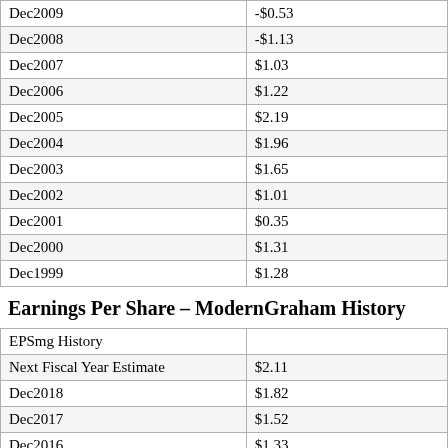|  |  |
| --- | --- |
| Dec2009 | -$0.53 |
| Dec2008 | -$1.13 |
| Dec2007 | $1.03 |
| Dec2006 | $1.22 |
| Dec2005 | $2.19 |
| Dec2004 | $1.96 |
| Dec2003 | $1.65 |
| Dec2002 | $1.01 |
| Dec2001 | $0.35 |
| Dec2000 | $1.31 |
| Dec1999 | $1.28 |
Earnings Per Share – ModernGraham History
| EPSmg History |  |
| --- | --- |
| Next Fiscal Year Estimate | $2.11 |
| Dec2018 | $1.82 |
| Dec2017 | $1.52 |
| Dec2016 | $1.33 |
| Dec2015 | $0.98 |
| Dec2014 | $0.52 |
| Dec2013 | -$0.59 |
| Dec2012 | -$1.30 |